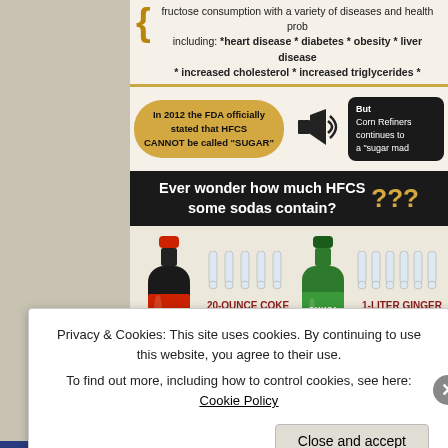fructose consumption with a variety of diseases and health problems including: *heart disease * diabetes * obesity * liver disease * increased cholesterol * increased triglycerides *
[Figure (infographic): Infographic showing FDA statement bubble: 'In 2012 the FDA officially stated that HFCS CANNOT be called SUGAR', a speaker icon, and a Corn Refiners bubble saying 'But Corn Refiners continues to call it a sugar made...']
Ever wonder how much HFCS some sodas contain? ???
[Figure (infographic): Infographic showing Coca-Cola bottle with test tubes: 20-OUNCE COKE = 10 TEASPOONS, and Canada Dry Ginger Ale bottle with test tubes: 1-LITER GINGER ALE = 15 TEASPOONS]
Privacy & Cookies: This site uses cookies. By continuing to use this website, you agree to their use. To find out more, including how to control cookies, see here: Cookie Policy
Close and accept